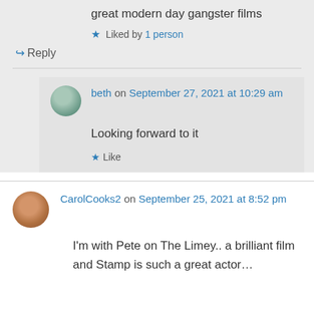great modern day gangster films
★ Liked by 1 person
↪ Reply
beth on September 27, 2021 at 10:29 am
Looking forward to it
★ Like
CarolCooks2 on September 25, 2021 at 8:52 pm
I'm with Pete on The Limey.. a brilliant film and Stamp is such a great actor…